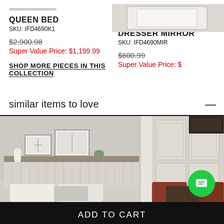QUEEN BED
SKU: IFD4690K1
$2,900.98
Super Value Price: $1,199.99
DRESSER MIRROR
SKU: IFD4690MIR
$600.99
Super Value Price: $
SHOP MORE PIECES IN THIS COLLECTION
similar items to love
[Figure (photo): Bedroom photo showing a white/grey bed with headboard, decorative pillows, and a shelf above with framed art and plants]
[Figure (photo): Bedroom photo showing a white/antique bed headboard with red/rust pillows]
ADD TO CART